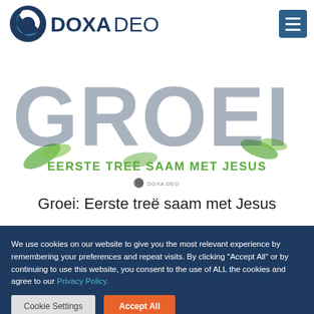[Figure (logo): Doxadeo logo with circular icon and DOXADEO text, plus hamburger menu button]
[Figure (illustration): GROEI banner image with large decorative text and leaves, subtitle EERSTE TREË SAAM MET JESUS in green bold text, and small Doxa Deo logo below]
Groei: Eerste treë saam met Jesus
We use cookies on our website to give you the most relevant experience by remembering your preferences and repeat visits. By clicking "Accept All" or by continuing to use this website, you consent to the use of ALL the cookies and agree to our Privacy Policy.
Cookie Settings | Accept All